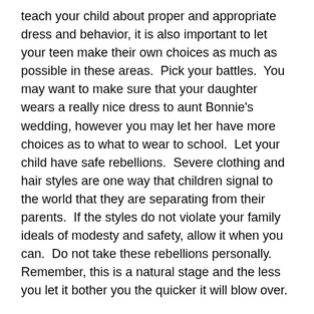teach your child about proper and appropriate dress and behavior, it is also important to let your teen make their own choices as much as possible in these areas.  Pick your battles.  You may want to make sure that your daughter wears a really nice dress to aunt Bonnie's wedding, however you may let her have more choices as to what to wear to school.  Let your child have safe rebellions.  Severe clothing and hair styles are one way that children signal to the world that they are separating from their parents.  If the styles do not violate your family ideals of modesty and safety, allow it when you can.  Do not take these rebellions personally.  Remember, this is a natural stage and the less you let it bother you the quicker it will blow over.
Personal Space and Sharing
When our children are small we teach them to share.  Little children need little personal space and their understanding about personal belongings can be fleeting.  As